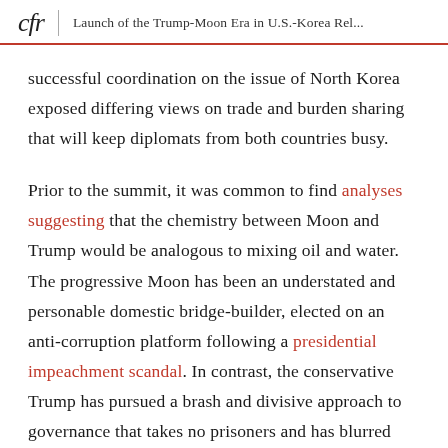cfr | Launch of the Trump-Moon Era in U.S.-Korea Rel...
successful coordination on the issue of North Korea exposed differing views on trade and burden sharing that will keep diplomats from both countries busy.
Prior to the summit, it was common to find analyses suggesting that the chemistry between Moon and Trump would be analogous to mixing oil and water. The progressive Moon has been an understated and personable domestic bridge-builder, elected on an anti-corruption platform following a presidential impeachment scandal. In contrast, the conservative Trump has pursued a brash and divisive approach to governance that takes no prisoners and has blurred